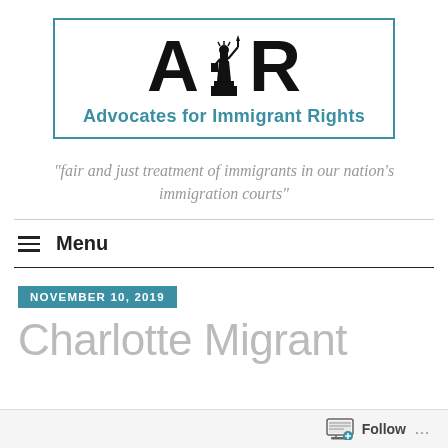[Figure (logo): AIR logo — Advocates for Immigrant Rights, with Statue of Liberty icon between stylized A and R letters, inside a teal/blue border box]
"fair and just treatment of immigrants in our nation's immigration courts"
≡  Menu
NOVEMBER 10, 2019
Charlotte Migrant
Follow